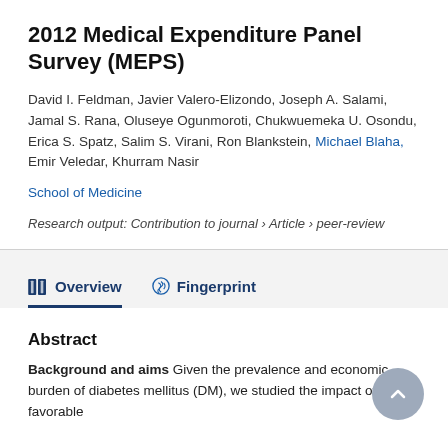2012 Medical Expenditure Panel Survey (MEPS)
David I. Feldman, Javier Valero-Elizondo, Joseph A. Salami, Jamal S. Rana, Oluseye Ogunmoroti, Chukwuemeka U. Osondu, Erica S. Spatz, Salim S. Virani, Ron Blankstein, Michael Blaha, Emir Veledar, Khurram Nasir
School of Medicine
Research output: Contribution to journal › Article › peer-review
Abstract
Background and aims Given the prevalence and economic burden of diabetes mellitus (DM), we studied the impact of a favorable